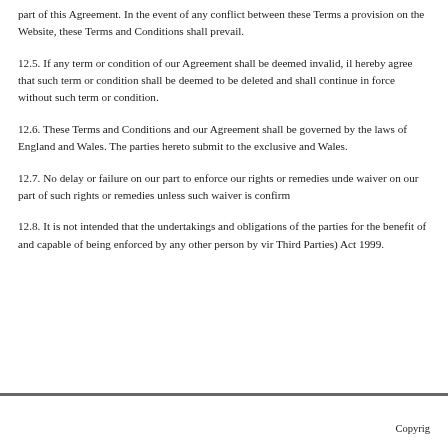part of this Agreement. In the event of any conflict between these Terms and any provision on the Website, these Terms and Conditions shall prevail.
12.5. If any term or condition of our Agreement shall be deemed invalid, illegal or unenforceable, the parties hereby agree that such term or condition shall be deemed to be deleted and the remaining terms and conditions shall continue in force without such term or condition.
12.6. These Terms and Conditions and our Agreement shall be governed by and construed in accordance with the laws of England and Wales. The parties hereto submit to the exclusive jurisdiction of the courts of England and Wales.
12.7. No delay or failure on our part to enforce our rights or remedies under this Agreement shall constitute a waiver on our part of such rights or remedies unless such waiver is confirmed in writing.
12.8. It is not intended that the undertakings and obligations of the parties set out in this Agreement shall be for the benefit of and capable of being enforced by any other person by virtue of the Contracts (Rights of Third Parties) Act 1999.
Copyrig